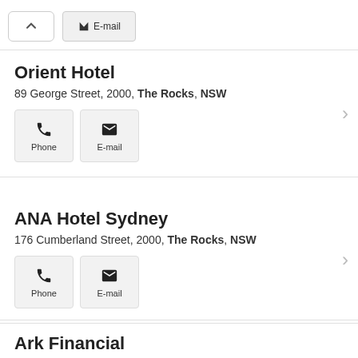[Figure (screenshot): Top bar with collapse (chevron up) button and E-mail button]
Orient Hotel
89 George Street, 2000, The Rocks, NSW
[Figure (infographic): Phone and E-mail icon buttons for Orient Hotel]
ANA Hotel Sydney
176 Cumberland Street, 2000, The Rocks, NSW
[Figure (infographic): Phone and E-mail icon buttons for ANA Hotel Sydney]
Ark Financial